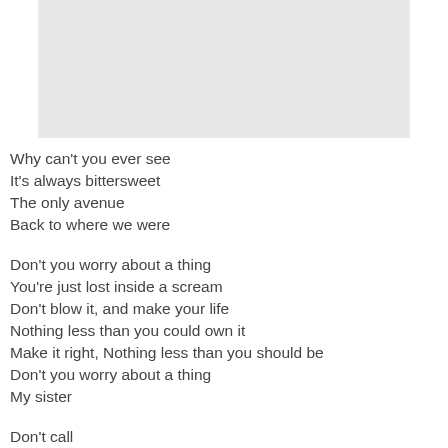[Figure (other): Gray rectangular image placeholder at top of page]
Why can't you ever see
It's always bittersweet
The only avenue
Back to where we were
Don't you worry about a thing
You're just lost inside a scream
Don't blow it, and make your life
Nothing less than you could own it
Make it right, Nothing less than you should be
Don't you worry about a thing
My sister
Don't call...